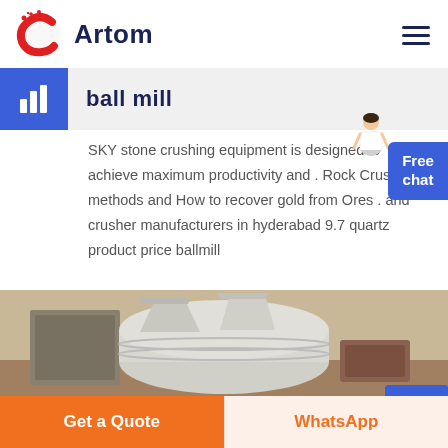Artom
ball mill
SKY stone crushing equipment is designed to achieve maximum productivity and . Rock Crushing methods and How to recover gold from Ores . and crusher manufacturers in hyderabad 9.7 quartz product price ballmill
[Figure (photo): Industrial ball mill machinery, silver cylindrical equipment in a workshop setting]
Get a Quote
WhatsApp